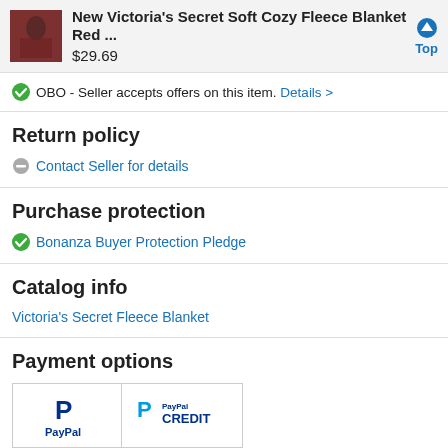New Victoria's Secret Soft Cozy Fleece Blanket Red ... $29.69
OBO - Seller accepts offers on this item. Details >
Return policy
Contact Seller for details
Purchase protection
Bonanza Buyer Protection Pledge
Catalog info
Victoria's Secret Fleece Blanket
Payment options
[Figure (logo): PayPal and PayPal Credit payment logos]
No Interest if paid in full in 6 months on purchases of $99+ with PayPal CREDIT. Learn more